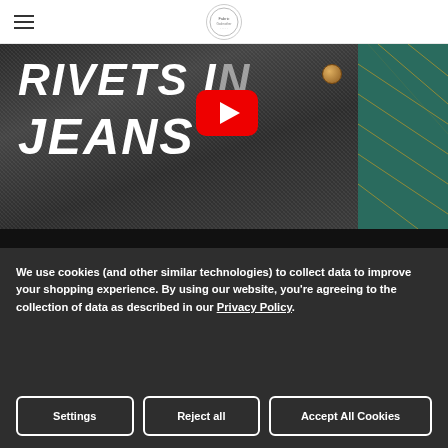Fabric Godmother (logo)
[Figure (screenshot): YouTube video thumbnail showing text 'RIVETS IN JEANS' in white bold italic letters on dark denim fabric background, with a red YouTube play button overlay and a teal cutting mat on the right side. A copper rivet is visible on the denim.]
How To Install Rivets in Jeans
How to Install Rivets in Jeans with Fabric Godmother Josie t...
We use cookies (and other similar technologies) to collect data to improve your shopping experience. By using our website, you're agreeing to the collection of data as described in our Privacy Policy.
Settings
Reject all
Accept All Cookies